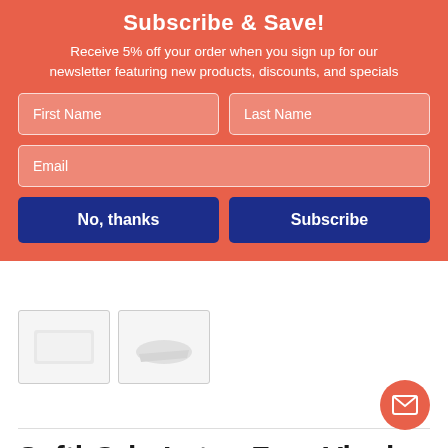Subscribe & Save!
Receive 5% off your order when you sign up for our newsletter featuring new products, discounts, and specials
[Figure (screenshot): Two product thumbnail images of a white bath mat]
Safti-Grip Latex-Free Vinyl Bath Mat, 16 x 28, White
By: Rubbermaid Commercial
Item #: RCP1982726